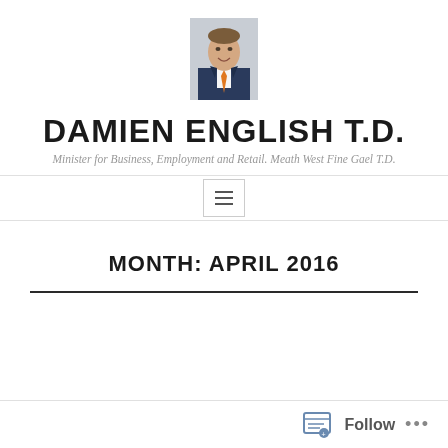[Figure (photo): Headshot portrait of Damien English T.D., a man in a dark suit with an orange tie, smiling.]
DAMIEN ENGLISH T.D.
Minister for Business, Employment and Retail. Meath West Fine Gael T.D.
MONTH: APRIL 2016
Follow